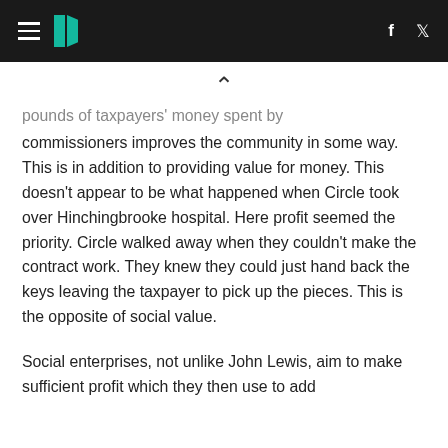HuffPost header with hamburger menu, logo, Facebook and Twitter icons
pounds of taxpayers' money spent by commissioners improves the community in some way. This is in addition to providing value for money. This doesn't appear to be what happened when Circle took over Hinchingbrooke hospital. Here profit seemed the priority. Circle walked away when they couldn't make the contract work. They knew they could just hand back the keys leaving the taxpayer to pick up the pieces. This is the opposite of social value.
Social enterprises, not unlike John Lewis, aim to make sufficient profit which they then use to add